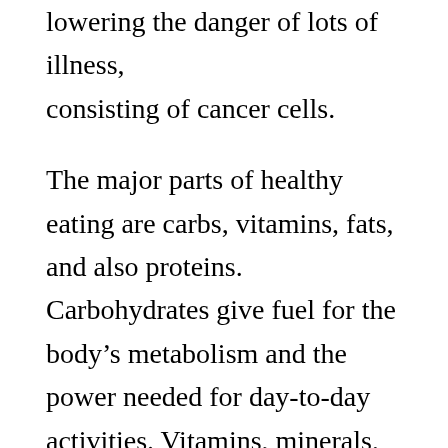lowering the danger of lots of illness, consisting of cancer cells.
The major parts of healthy eating are carbs, vitamins, fats, and also proteins. Carbohydrates give fuel for the body's metabolism and the power needed for day-to-day activities. Vitamins, minerals, and fats are necessary to maintain health and wellness and provide the body with the compounds it needs for normal feature. Healthy proteins are the primary foundation of muscular tissue tissues